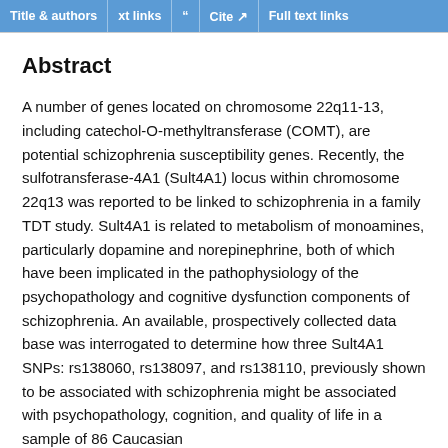Title & authors | Full text links | Cite | Full text links
Abstract
A number of genes located on chromosome 22q11-13, including catechol-O-methyltransferase (COMT), are potential schizophrenia susceptibility genes. Recently, the sulfotransferase-4A1 (Sult4A1) locus within chromosome 22q13 was reported to be linked to schizophrenia in a family TDT study. Sult4A1 is related to metabolism of monoamines, particularly dopamine and norepinephrine, both of which have been implicated in the pathophysiology of the psychopathology and cognitive dysfunction components of schizophrenia. An available, prospectively collected data base was interrogated to determine how three Sult4A1 SNPs: rs138060, rs138097, and rs138110, previously shown to be associated with schizophrenia might be associated with psychopathology, cognition, and quality of life in a sample of 86 Caucasian